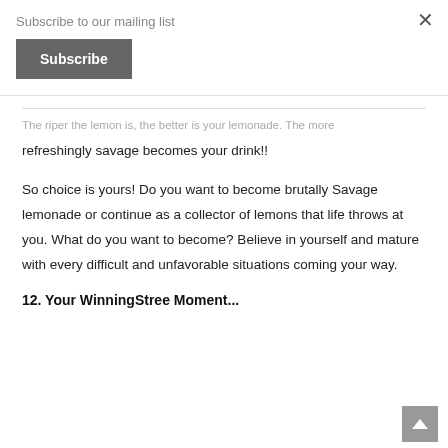Subscribe to our mailing list
Subscribe
The riper the lemon is, the better is your lemonade. The more refreshingly savage becomes your drink!!
So choice is yours! Do you want to become brutally Savage lemonade or continue as a collector of lemons that life throws at you. What do you want to become? Believe in yourself and mature with every difficult and unfavorable situations coming your way.
12. Your WinningStree Moment...